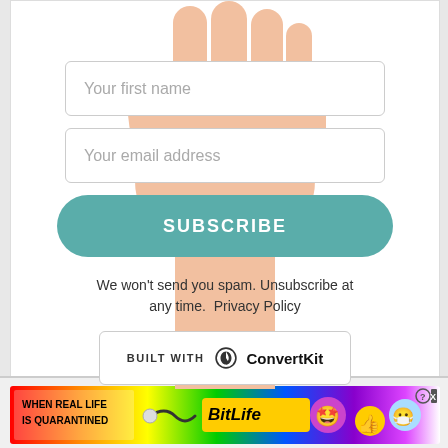[Figure (illustration): A hand/arm reaching upward with an open palm, skin-toned illustration serving as background for a subscription form]
Your first name
Your email address
SUBSCRIBE
We won't send you spam. Unsubscribe at any time.  Privacy Policy
[Figure (logo): BUILT WITH ConvertKit badge with circular ConvertKit logo]
[Figure (infographic): WHEN REAL LIFE IS QUARANTINED BitLife advertisement banner with rainbow background, emoji characters, and game logo]